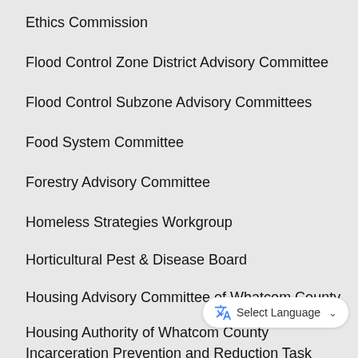Ethics Commission
Flood Control Zone District Advisory Committee
Flood Control Subzone Advisory Committees
Food System Committee
Forestry Advisory Committee
Homeless Strategies Workgroup
Horticultural Pest & Disease Board
Housing Advisory Committee of Whatcom County
Housing Authority of Whatcom County
Incarceration Prevention and Reduction Task Force